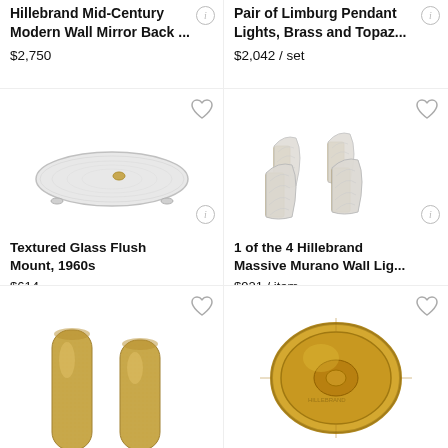Hillebrand Mid-Century Modern Wall Mirror Back ...
$2,750
Pair of Limburg Pendant Lights, Brass and Topaz...
$2,042 / set
[Figure (photo): Textured glass flush mount ceiling light, oval shape, white/silver, 1960s style]
Textured Glass Flush Mount, 1960s
$614
[Figure (photo): Four Hillebrand Massive Murano wall lights, curved frosted glass with brass base, arranged in cluster]
1 of the 4 Hillebrand Massive Murano Wall Lig...
$921 / item
[Figure (photo): Two sandy/golden textured cylindrical wall sconces, bottom partially visible]
[Figure (photo): Gold/brass oval flush mount ceiling light, partially visible at bottom]